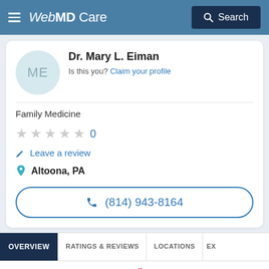WebMD Care — Search
Dr. Mary L. Eiman
Is this you? Claim your profile
Family Medicine
★★★★★ 0
Leave a review
Altoona, PA
(814) 943-8164
OVERVIEW | RATINGS & REVIEWS | LOCATIONS | EX